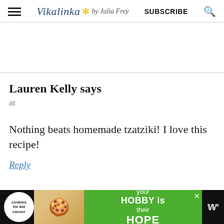Vikalinka by Julia Frey | SUBSCRIBE
[Figure (screenshot): Blog website header with hamburger menu, Vikalinka by Julia Frey logo with star, Subscribe button and search icon]
Lauren Kelly says
at
Nothing beats homemade tzatziki! I love this recipe!
Reply
[Figure (infographic): Bottom ad banner: cookies for kid cancer logo, hands holding heart-shaped cookie, green background with text 'your HOBBY is their HOPE', close button, and speaker icon]